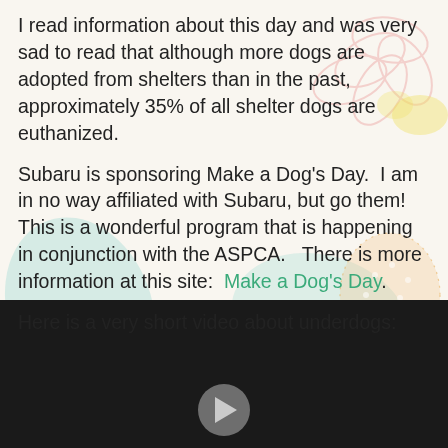I read information about this day and was very sad to read that although more dogs are adopted from shelters than in the past, approximately 35% of all shelter dogs are euthanized.
Subaru is sponsoring Make a Dog's Day.  I am in no way affiliated with Subaru, but go them!  This is a wonderful program that is happening in conjunction with the ASPCA.   There is more information at this site:  Make a Dog's Day.
Here is a very short video about underdogs:
[Figure (screenshot): Dark/black video player screenshot showing the beginning of a short video about underdogs, with a faint circular play button hint at the bottom center.]